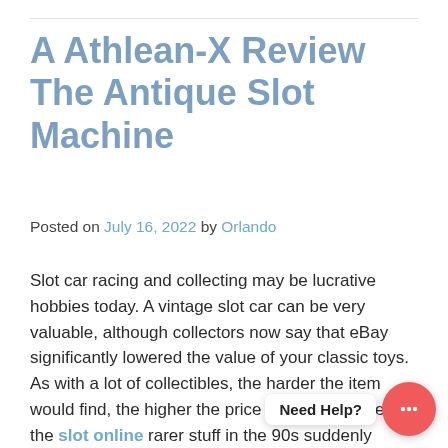A Athlean-X Review The Antique Slot Machine
Posted on July 16, 2022 by Orlando
Slot car racing and collecting may be lucrative hobbies today. A vintage slot car can be very valuable, although collectors now say that eBay significantly lowered the value of your classic toys. As with a lot of collectibles, the harder the item would find, the higher the price tag gets. With eBay, the slot online rarer stuff in the 90s suddenly seem so well-known. If you're starting your own collection, though, these are items you'd like to possess in your corner. For the rar… frugal collector, you'll gladly t… $… collectibles associated with 90s now cost $40 at several. That's the same price as a brand new slot car